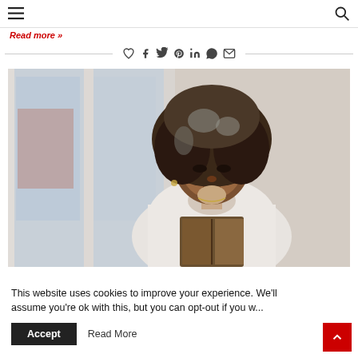☰  [search icon]
Read more »
[Figure (other): Social sharing icons row: heart, facebook, twitter, pinterest, linkedin, whatsapp, email, flanked by horizontal rules]
[Figure (photo): A young Black woman with voluminous curly gray-streaked hair, wearing a white blouse, resting her chin on her hand and reading a book, seated near a window with soft natural light]
This website uses cookies to improve your experience. We'll assume you're ok with this, but you can opt-out if you w...
Accept   Read More